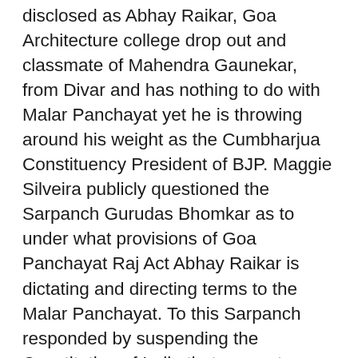disclosed as Abhay Raikar, Goa Architecture college drop out and classmate of Mahendra Gaunekar, from Divar and has nothing to do with Malar Panchayat yet he is throwing around his weight as the Cumbharjua Constituency President of BJP. Maggie Silveira publicly questioned the Sarpanch Gurudas Bhomkar as to under what provisions of Goa Panchayat Raj Act Abhay Raikar is dictating and directing terms to the Malar Panchayat. To this Sarpanch responded by suspending the Constitution of India that guarantees freedom of speech and expression under the article 19(1)(a) to every citizen of India. He asked Maggie to shut up and when she continued to speak he ordered sound system in hall to be switched off.  Before this Constitution was marshaled marvelously by Babasaheb Dr. Bhimrao Ambedkar only Brahmins had right to speech under Manusmriti. Shudras had no rights as Manusmriti , the Constitution of Brahmins considers shudras, ati-shudras as slaves without freedom of speech and